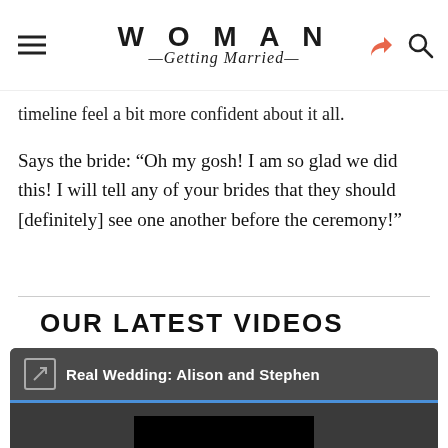WOMAN Getting Married
timeline feel a bit more confident about it all.
Says the bride: “Oh my gosh! I am so glad we did this! I will tell any of your brides that they should [definitely] see one another before the ceremony!”
OUR LATEST VIDEOS
[Figure (screenshot): Embedded video player titled 'Real Wedding: Alison and Stephen' showing an error message: 'This video file cannot be played. (Error Code: 224003)']